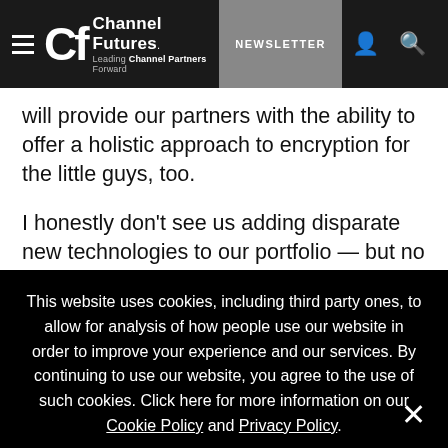Channel Futures — Leading Channel Partners Forward | NEWSLETTER
will provide our partners with the ability to offer a holistic approach to encryption for the little guys, too.
I honestly don't see us adding disparate new technologies to our portfolio — but no guarantees. I see us singularly focused on offering encryption and access control for PCs and mobile devices, and continuing to ensure that our service is simple for our partners.
This website uses cookies, including third party ones, to allow for analysis of how people use our website in order to improve your experience and our services. By continuing to use our website, you agree to the use of such cookies. Click here for more information on our Cookie Policy and Privacy Policy.